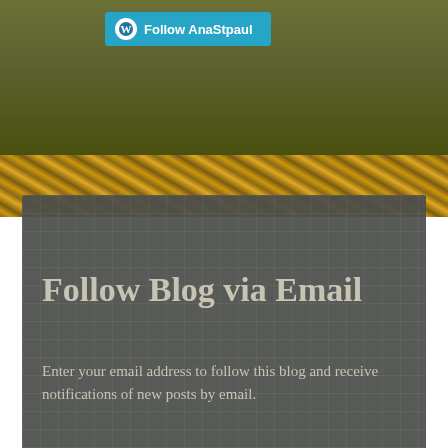[Figure (screenshot): WordPress Follow AnaStpaul button in teal/cyan with WordPress logo icon, positioned over olive-green header background]
Follow Blog via Email
Enter your email address to follow this blog and receive notifications of new posts by email.
Enter your email address
FOLLOW
Advertisements
[Figure (screenshot): Victoria's Secret advertisement banner with model, VS logo, SHOP THE COLLECTION text, and SHOP NOW button on pink background]